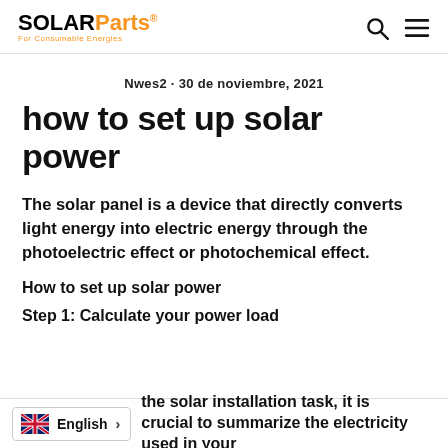SOLARParts® For Consumable Energies
Nwes2 · 30 de noviembre, 2021
how to set up solar power
The solar panel is a device that directly converts light energy into electric energy through the photoelectric effect or photochemical effect.
How to set up solar power
Step 1: Calculate your power load
the solar installation task, it is crucial to summarize the electricity used in your